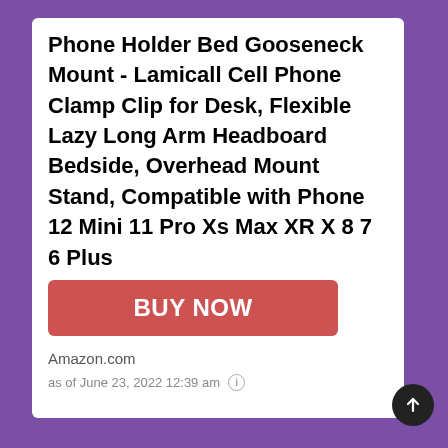Phone Holder Bed Gooseneck Mount - Lamicall Cell Phone Clamp Clip for Desk, Flexible Lazy Long Arm Headboard Bedside, Overhead Mount Stand, Compatible with Phone 12 Mini 11 Pro Xs Max XR X 8 7 6 Plus
[Figure (other): Red BUY NOW button]
Amazon.com
as of June 23, 2022 12:39 am ⓘ